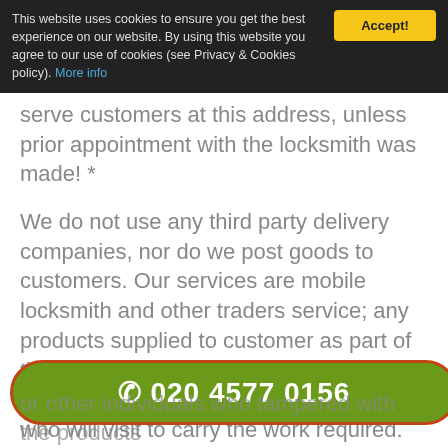This website uses cookies to ensure you get the best experience on our website. By using this website you agree to our use of cookies (see Privacy & Cookies policy). More info
serve customers at this address, unless prior appointment with the locksmith was made! *
We do not use any third party delivery companies, nor do we post goods to customers. Our services are mobile locksmith and other traders service; any products supplied to customer as part of the work is supplied and installed at the customer's property by the tradesmen who will visit to carry the work required.
All goods we supply & install carry 12 month
☎ 020 4577 0156
or other individuals who tampered with the products